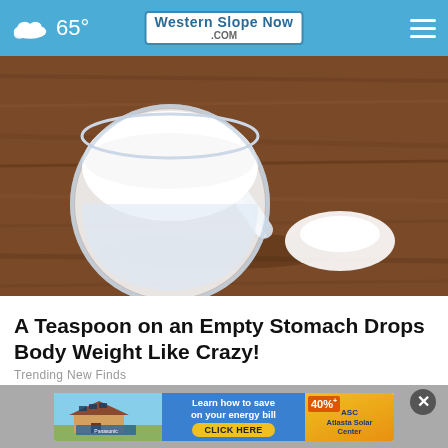65° Western Slope Now .COM
[Figure (photo): A measuring scoop filled with white powder (sugar or similar substance) on a wooden surface, with a small pile of the powder nearby]
A Teaspoon on an Empty Stomach Drops Body Weight Like Crazy!
Trending New Finds
[Figure (screenshot): Advertisement banner showing a house with solar panels, text 'Learn how to save on your energy bill', CLICK HERE button, and 'ASC Atlasta Solar Center' with a 40% offer badge]